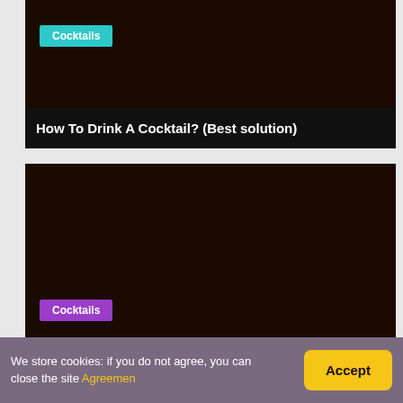[Figure (other): Dark brown card placeholder image area at top]
Cocktails
How To Drink A Cocktail? (Best solution)
[Figure (other): IMAGE NOT FOUND - PLEASE ADD FEATURED IMAGE IN YOUR PAGE]
Cocktails
What Is The Wine Cocktail Called With White Wine And...
We store cookies: if you do not agree, you can close the site Agreemen
Accept